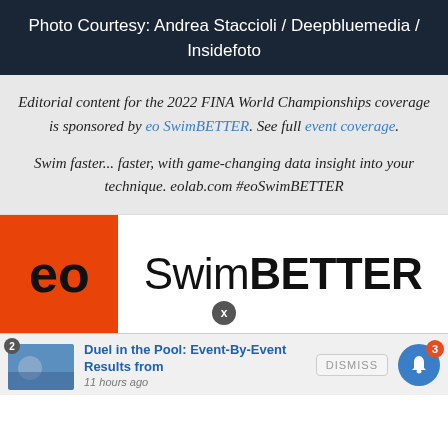Photo Courtesy: Andrea Staccioli / Deepbluemedia / Insidefoto
Editorial content for the 2022 FINA World Championships coverage is sponsored by eo SwimBETTER. See full event coverage.
Swim faster... faster, with game-changing data insight into your technique. eolab.com #eoSwimBETTER
[Figure (logo): eo SwimBETTER advertisement banner with orange eo logo on left and SwimBETTER text on white background]
Duel in the Pool: Event-By-Event Results from — 11 hours ago — DISMISS